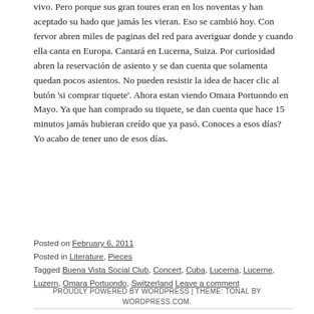vivo. Pero porque sus gran toures eran en los noventas y han aceptado su hado que jamás les vieran. Eso se cambió hoy. Con fervor abren miles de paginas del red para averiguar donde y cuando ella canta en Europa. Cantará en Lucerna, Suiza. Por curiosidad abren la reservación de asiento y se dan cuenta que solamenta quedan pocos asientos. No pueden resistir la idea de hacer clic al butón 'si comprar tiquete'. Ahora estan viendo Omara Portuondo en Mayo. Ya que han comprado su tiquete, se dan cuenta que hace 15 minutos jamás hubieran creído que ya pasó. Conoces a esos días? Yo acabo de tener uno de esos días.
Posted on February 6, 2011
Posted in Literature, Pieces
Tagged Buena Vista Social Club, Concert, Cuba, Lucerna, Lucerne, Luzern, Omara Portuondo, Switzerland Leave a comment
PROUDLY POWERED BY WORDPRESS | THEME: TONAL BY WORDPRESS.COM.